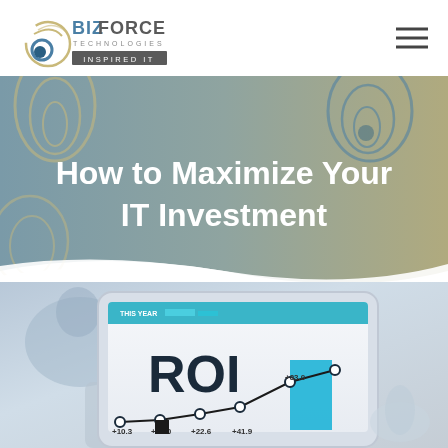[Figure (logo): BizForce Technologies Inspired IT logo with circular swirl icon in gold/grey tones]
[Figure (other): Hamburger menu icon (three horizontal lines)]
How to Maximize Your IT Investment
[Figure (photo): Close-up photo of person holding a tablet displaying an ROI analytics dashboard with line chart showing values +10.3, +12.0, +22.6, +41.9, +83.0 against a blurred office background]